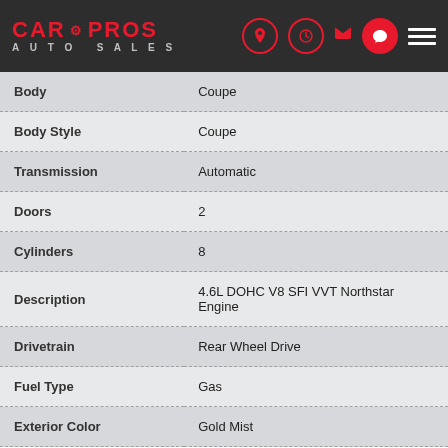Car Pros Auto Sales
| Attribute | Value |
| --- | --- |
| Body | Coupe |
| Body Style | Coupe |
| Transmission | Automatic |
| Doors | 2 |
| Cylinders | 8 |
| Description | 4.6L DOHC V8 SFI VVT Northstar Engine |
| Drivetrain | Rear Wheel Drive |
| Fuel Type | Gas |
| Exterior Color | Gold Mist |